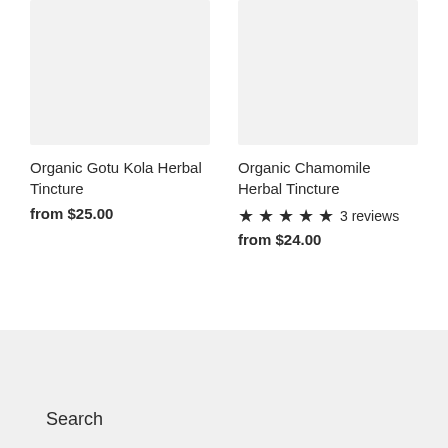[Figure (photo): Product image placeholder for Organic Gotu Kola Herbal Tincture, light gray background]
[Figure (photo): Product image placeholder for Organic Chamomile Herbal Tincture, light gray background]
Organic Gotu Kola Herbal Tincture
from $25.00
Organic Chamomile Herbal Tincture
★★★★★ 3 reviews
from $24.00
Search